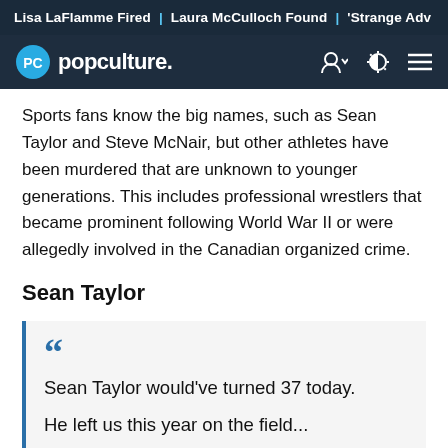Lisa LaFlamme Fired | Laura McCulloch Found | 'Strange Adv
popculture.
Sports fans know the big names, such as Sean Taylor and Steve McNair, but other athletes have been murdered that are unknown to younger generations. This includes professional wrestlers that became prominent following World War II or were allegedly involved in the Canadian organized crime.
Sean Taylor
Sean Taylor would've turned 37 today.
He left us this year on the field...